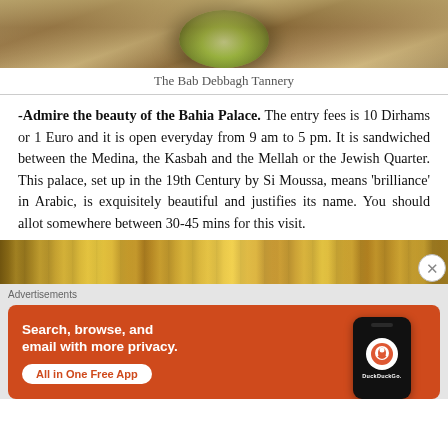[Figure (photo): Top portion of a tannery photo showing circular vats with greenish liquid, stone surroundings — the Bab Debbagh Tannery]
The Bab Debbagh Tannery
-Admire the beauty of the Bahia Palace. The entry fees is 10 Dirhams or 1 Euro and it is open everyday from 9 am to 5 pm. It is sandwiched between the Medina, the Kasbah and the Mellah or the Jewish Quarter. This palace, set up in the 19th Century by Si Moussa, means 'brilliance' in Arabic, is exquisitely beautiful and justifies its name. You should allot somewhere between 30-45 mins for this visit.
[Figure (photo): Bottom portion of an ornate palace interior photo — golden decorative ceiling visible]
[Figure (screenshot): DuckDuckGo advertisement banner: 'Search, browse, and email with more privacy. All in One Free App' with phone graphic and DuckDuckGo logo]